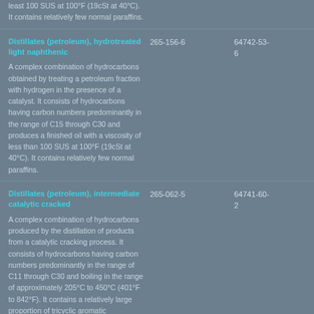least 100 SUS at 100°F (19cSt at 40°C). It contains relatively few normal paraffins.
Distillates (petroleum), hydrotreated light naphthenic
265-156-6
64742-53-6
A complex combination of hydrocarbons obtained by treating a petroleum fraction with hydrogen in the presence of a catalyst. It consists of hydrocarbons having carbon numbers predominantly in the range of C15 through C30 and produces a finished oil with a viscosity of less than 100 SUS at 100°F (19cSt at 40°C). It contains relatively few normal paraffins.
Distillates (petroleum), intermediate catalytic cracked
265-062-5
64741-60-2
A complex combination of hydrocarbons produced by the distillation of products from a catalytic cracking process. It consists of hydrocarbons having carbon numbers predominantly in the range of C11 through C30 and boiling in the range of approximately 205°C to 450°C (401°F to 842°F). It contains a relatively large proportion of tricyclic aromatic hydrocarbons.